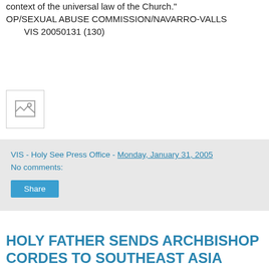context of the universal law of the Church."
OP/SEXUAL ABUSE COMMISSION/NAVARRO-VALLS
    VIS 20050131 (130)
[Figure (photo): Small broken image placeholder icon]
VIS - Holy See Press Office - Monday, January 31, 2005
No comments:
Share
HOLY FATHER SENDS ARCHBISHOP CORDES TO SOUTHEAST ASIA
VATICAN CITY, JAN 29, 2005 (VIS) - Published today was a Message, dated January 22, from the Holy Father to Archbishop Paul Josef Cordes, president of the Pontifical Council "Cor Unum," and the Pope's envoy to Southeast Asia and his advice on the governance of...